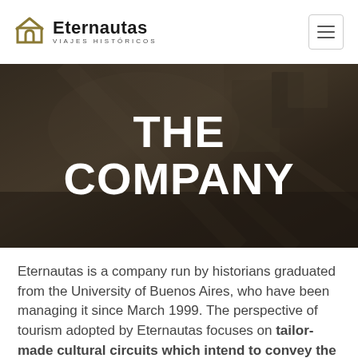Eternautas VIAJES HISTÓRICOS
[Figure (photo): Grayscale/sepia-toned hero image showing a historical scene or architectural detail, used as website banner background with dark overlay]
THE COMPANY
Eternautas is a company run by historians graduated from the University of Buenos Aires, who have been managing it since March 1999. The perspective of tourism adopted by Eternautas focuses on tailor-made cultural circuits which intend to convey the history,